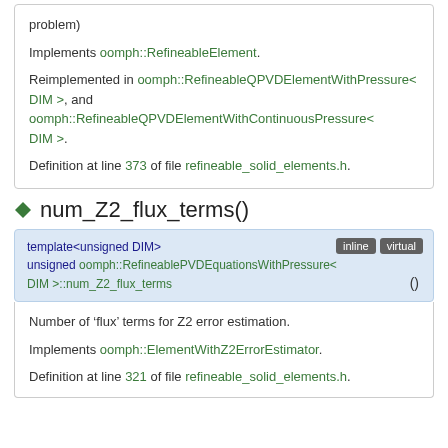problem)
Implements oomph::RefineableElement.
Reimplemented in oomph::RefineableQPVDElementWithPressure< DIM >, and oomph::RefineableQPVDElementWithContinuousPressure< DIM >.
Definition at line 373 of file refineable_solid_elements.h.
num_Z2_flux_terms()
template<unsigned DIM>
unsigned oomph::RefineablePVDEquationsWithPressure< DIM >::num_Z2_flux_terms ()
Number of 'flux' terms for Z2 error estimation.
Implements oomph::ElementWithZ2ErrorEstimator.
Definition at line 321 of file refineable_solid_elements.h.